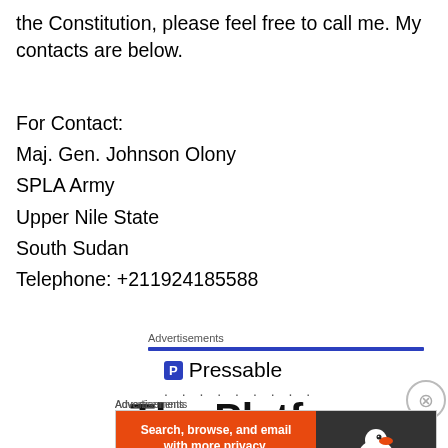the Constitution, please feel free to call me. My contacts are below.
For Contact:
Maj. Gen. Johnson Olony
SPLA Army
Upper Nile State
South Sudan
Telephone: +211924185588
Advertisements
[Figure (logo): Pressable logo with blue P icon and text 'Pressable', followed by dots]
The Platform
Advertisements
[Figure (infographic): DuckDuckGo advertisement banner: orange section with text 'Search, browse, and email with more privacy. All in One Free App' and dark section with DuckDuckGo duck logo]